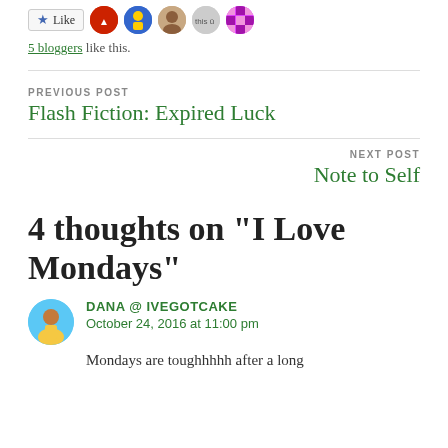[Figure (other): Like button with 5 blogger avatar icons next to it]
5 bloggers like this.
PREVIOUS POST
Flash Fiction: Expired Luck
NEXT POST
Note to Self
4 thoughts on “I Love Mondays”
DANA @ IVEGOTCAKE
October 24, 2016 at 11:00 pm
Mondays are toughhhhh after a long